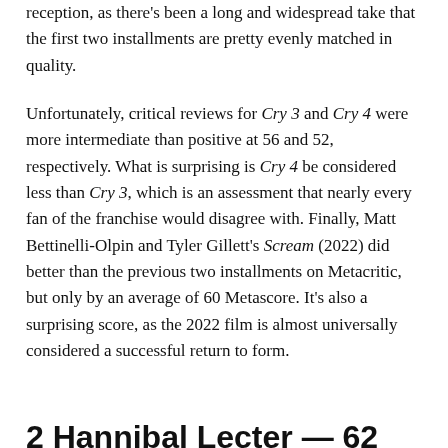reception, as there's been a long and widespread take that the first two installments are pretty evenly matched in quality.
Unfortunately, critical reviews for Cry 3 and Cry 4 were more intermediate than positive at 56 and 52, respectively. What is surprising is Cry 4 be considered less than Cry 3, which is an assessment that nearly every fan of the franchise would disagree with. Finally, Matt Bettinelli-Olpin and Tyler Gillett's Scream (2022) did better than the previous two installments on Metacritic, but only by an average of 60 Metascore. It's also a surprising score, as the 2022 film is almost universally considered a successful return to form.
2 Hannibal Lecter — 62 years old